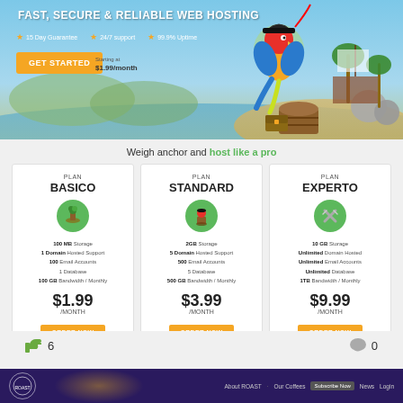[Figure (illustration): Web hosting banner with parrot mascot, 'FAST, SECURE & RELIABLE WEB HOSTING' headline, 15 Day Guarantee, 24/7 support, 99.9% Uptime badges, GET STARTED button starting at $1.99/month, tropical beach scene with pirate ship]
Weigh anchor and host like a pro
| PLAN BASICO | PLAN STANDARD | PLAN EXPERTO |
| --- | --- | --- |
| 100 MB Storage | 2GB Storage | 10 GB Storage |
| 1 Domain Hosted Support | 5 Domain Hosted Support | Unlimited Domain Hosted |
| 100 Email Accounts | 500 Email Accounts | Unlimited Email Accounts |
| 1 Database | 5 Database | Unlimited Database |
| 100 GB Bandwidth / Monthly | 500 GB Bandwidth / Monthly | 1TB Bandwidth / Monthly |
| $1.99 /MONTH | $3.99 /MONTH | $9.99 /MONTH |
| ORDER NOW | ORDER NOW | ORDER NOW |
6
0
[Figure (screenshot): Footer navigation bar with ROAST logo, About ROAST, Our Coffees, Subscribe Now, News, Login links on dark purple background]